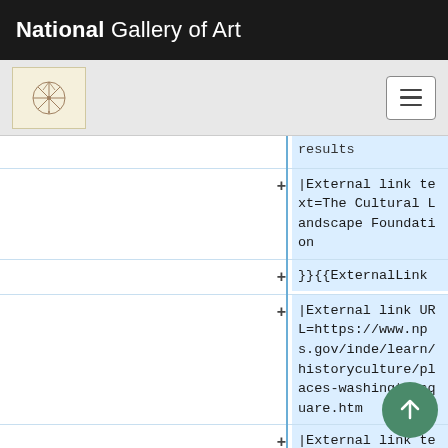National Gallery of Art
[Figure (screenshot): Screenshot of a web interface showing a tree/diff view with code snippets for external links related to The Cultural Landscape Foundation and Washington Square (National Park Service).]
results
|External link text=The Cultural Landscape Foundation
}}{{ExternalLink
|External link URL=https://www.nps.gov/inde/learn/historyculture/places-washingtonsquare.htm
|External link text=Washington Square (National Park Service)
}}